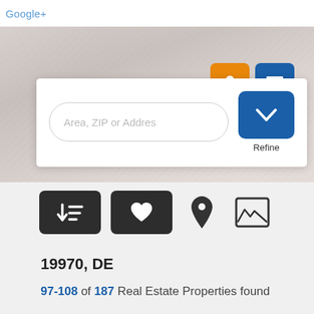Google+
[Figure (screenshot): Hero background image showing people, with orange user icon button and dark blue menu icon button in top right]
[Figure (screenshot): Search panel with 'Area, ZIP or Addres' input field and blue Refine dropdown button]
[Figure (screenshot): Toolbar with dark sort button (down arrow with lines icon), dark favorites button (heart icon), map pin icon, and image/landscape icon]
19970, DE
97-108 of 187 Real Estate Properties found